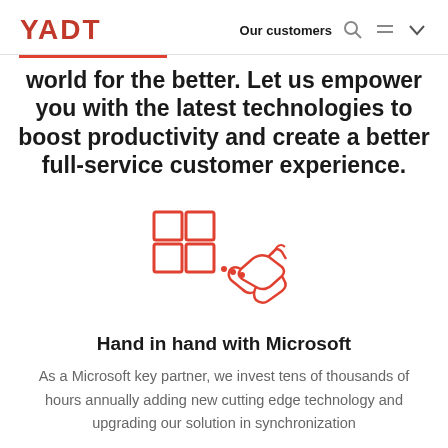YADT — Our customers
world for the better. Let us empower you with the latest technologies to boost productivity and create a better full-service customer experience.
[Figure (illustration): Icon of Microsoft Windows logo (four colored squares) connected by dots to a handshake icon, both in coral/red outline style.]
Hand in hand with Microsoft
As a Microsoft key partner, we invest tens of thousands of hours annually adding new cutting edge technology and upgrading our solution in synchronization